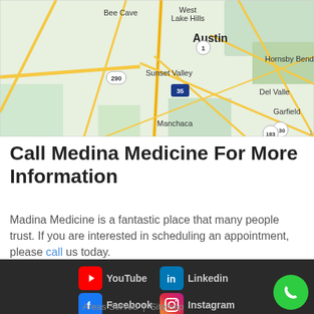[Figure (map): Google Maps screenshot showing Austin, TX area including Bee Cave, West Lake Hills, Sunset Valley, Hornsby Bend, Del Valle, Garfield, Manchaca, and highway markers 290, 35, 130, 183]
Call Medina Medicine For More Information
Madina Medicine is a fantastic place that many people trust. If you are interested in scheduling an appointment, please call us today.
[Figure (infographic): Social media footer with icons and labels: YouTube, Linkedin, Facebook, Instagram. Footer links: Areas Served | Sitemap. Green phone call button in bottom right.]